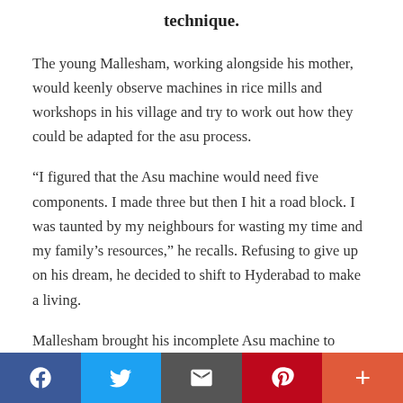technique.
The young Mallesham, working alongside his mother, would keenly observe machines in rice mills and workshops in his village and try to work out how they could be adapted for the asu process.
“I figured that the Asu machine would need five components. I made three but then I hit a road block. I was taunted by my neighbours for wasting my time and my family’s resources,” he recalls. Refusing to give up on his dream, he decided to shift to Hyderabad to make a living.
Mallesham brought his incomplete Asu machine to Hyderabad — where he found a job as an electrician — and began to work on it again in all his spare time. On a chance visit to a workshop in Balanagar in Hyderabad, he saw a machine that gave him a vital
f    ✉  p  +